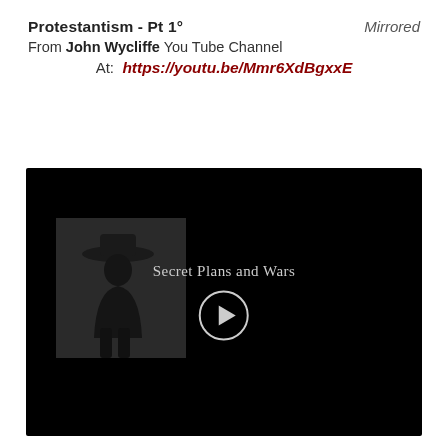Protestantism - Pt 1°    Mirrored
From John Wycliffe You Tube Channel
At:  https://youtu.be/Mmr6XdBgxxE
[Figure (screenshot): Video thumbnail showing a dark/black background with a silhouette of a person wearing a wide-brimmed hat on the left, text reading 'Secret Plans and Wars' in the center-right, and a circular play button overlay in the middle of the image.]